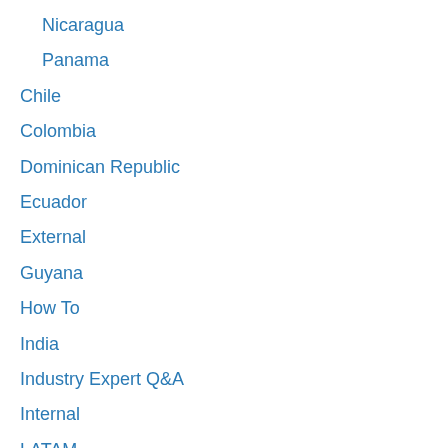Nicaragua
Panama
Chile
Colombia
Dominican Republic
Ecuador
External
Guyana
How To
India
Industry Expert Q&A
Internal
LATAM
Meet the Team
Mexico